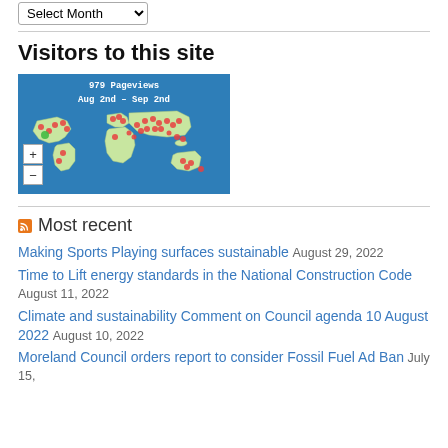Select Month (dropdown)
Visitors to this site
[Figure (map): World map showing 979 Pageviews Aug 2nd – Sep 2nd with red and green dots indicating visitor locations across the globe. Zoom +/- controls on left.]
Most recent
Making Sports Playing surfaces sustainable  August 29, 2022
Time to Lift energy standards in the National Construction Code  August 11, 2022
Climate and sustainability Comment on Council agenda 10 August 2022  August 10, 2022
Moreland Council orders report to consider Fossil Fuel Ad Ban  July 15,